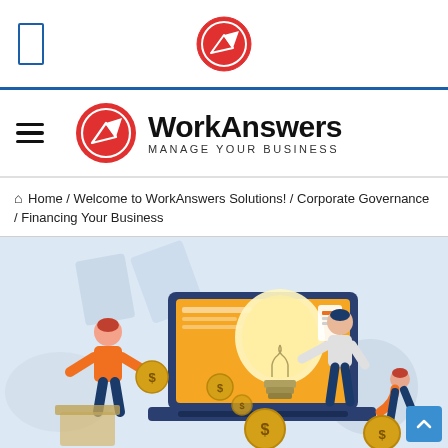WorkAnswers - Manage Your Business (top navigation bar with logo and icon)
Home / Welcome to WorkAnswers Solutions! / Corporate Governance / Financing Your Business
[Figure (illustration): Business financing illustration: a laptop displaying a large glowing lightbulb (representing ideas/startups), flanked by cartoon figures in orange clothing. Left figure hands over a gold coin. Right figure near the laptop screen. Far right figure bends to pick up coin. Dollar sign coins and floating dollar symbols fill the scene. Background has light blue shapes suggesting money/documents. Top right shows a progress bar UI element.]